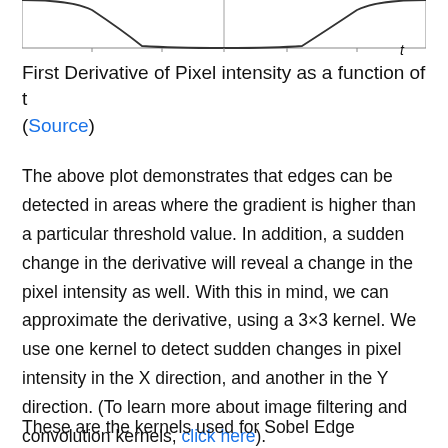[Figure (continuous-plot): Top portion of a plot showing first derivative of pixel intensity as a function of t. The curve shows two bell-curve-like peaks on the left and right sides with a flat region in the middle. The x-axis is labeled 't'. Only the bottom portion of the chart is visible.]
First Derivative of Pixel intensity as a function of t
(Source)
The above plot demonstrates that edges can be detected in areas where the gradient is higher than a particular threshold value. In addition, a sudden change in the derivative will reveal a change in the pixel intensity as well. With this in mind, we can approximate the derivative, using a 3×3 kernel. We use one kernel to detect sudden changes in pixel intensity in the X direction, and another in the Y direction. (To learn more about image filtering and convolution kernels, click here).
These are the kernels used for Sobel Edge Detection: